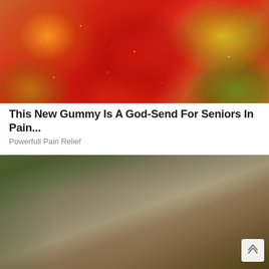[Figure (photo): Close-up photo of colorful sugar-coated gummy candies in orange, red, and yellow-green colors with white sugar crystals on top]
This New Gummy Is A God-Send For Seniors In Pain...
Powerfull Pain Relief
[Figure (photo): Photo of a house foundation repair project showing wooden sill beams being lifted with hydraulic jacks on concrete piers, with siding visible and tools/equipment on the ground]